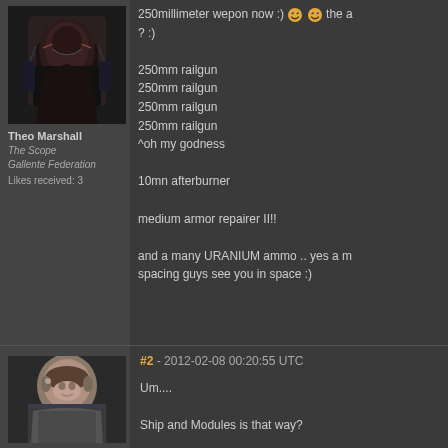[Figure (photo): Avatar of Theo Marshall - dark sci-fi character portrait]
Theo Marshall
The Scope
Gallente Federation
Likes received: 3
250millimeter wepon now :) 😊😊 the a ? :)

250mm railgun
250mm railgun
250mm railgun
250mm railgun
^oh my godness

10mn afterburner

medium armor repairer II!!

and a many URANIUM ammo .. yes a m spacing guys see you in space :)
[Figure (photo): Avatar of second poster - female character with short brown hair]
#2 - 2012-02-08 00:20:55 UTC

Um....

Ship and Modules is that way?